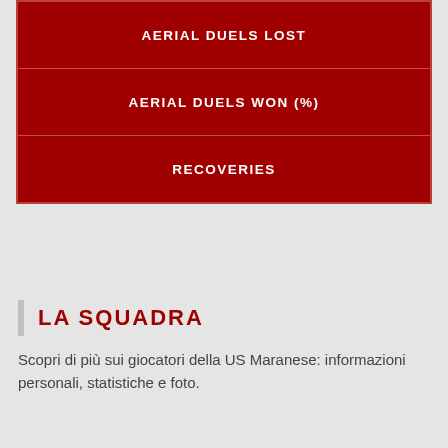| AERIAL DUELS LOST |
| AERIAL DUELS WON (%) |
| RECOVERIES |
LA SQUADRA
Scopri di più sui giocatori della US Maranese: informazioni personali, statistiche e foto.
ULTIMI POST